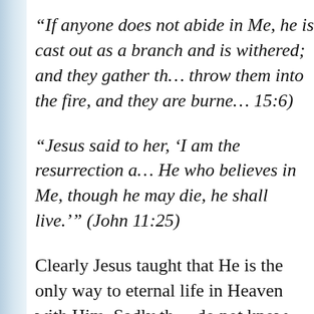“If anyone does not abide in Me, he is cast out as a branch and is withered; and they gather them, throw them into the fire, and they are burned.” (John 15:6)
“Jesus said to her, ‘I am the resurrection and the life. He who believes in Me, though he may die, he shall live.’” (John 11:25)
Clearly Jesus taught that He is the only way to eternal life in Heaven with Him. Sadly the do not know that we can have absolute assu